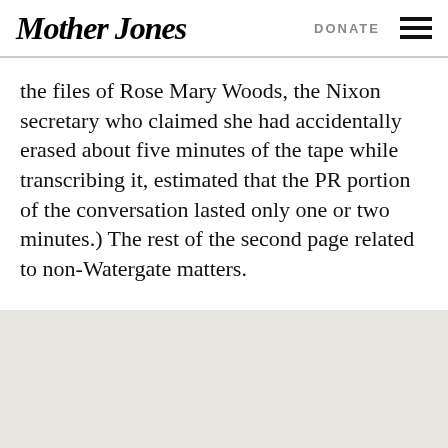Mother Jones | DONATE
the files of Rose Mary Woods, the Nixon secretary who claimed she had accidentally erased about five minutes of the tape while transcribing it, estimated that the PR portion of the conversation lasted only one or two minutes.) The rest of the second page related to non-Watergate matters.